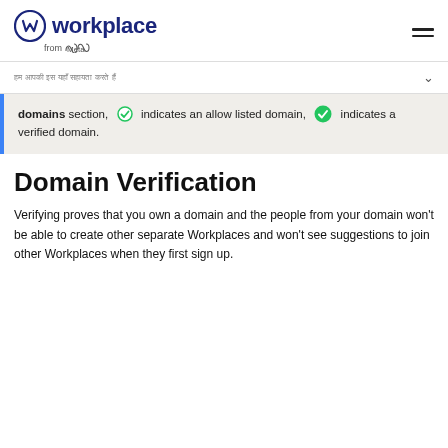workplace from Meta
हम आपकी इस यहाँ सहायता करते हैं
domains section, [check outline] indicates an allow listed domain, [check solid] indicates a verified domain.
Domain Verification
Verifying proves that you own a domain and the people from your domain won't be able to create other separate Workplaces and won't see suggestions to join other Workplaces when they first sign up.